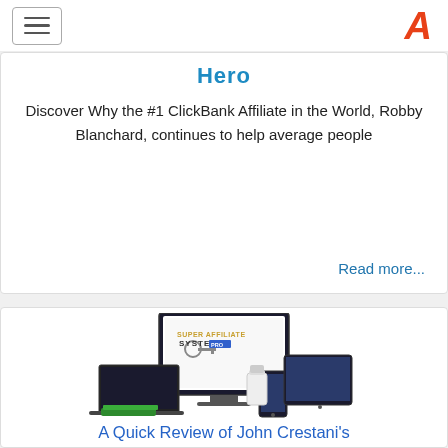Navigation menu and logo
Hero
Discover Why the #1 ClickBank Affiliate in the World, Robby Blanchard, continues to help average people
Read more...
[Figure (photo): Product image showing Super Affiliate System PRO branding on a monitor, with laptop, tablet, phone, and other devices arranged around it]
A Quick Review of John Crestani's